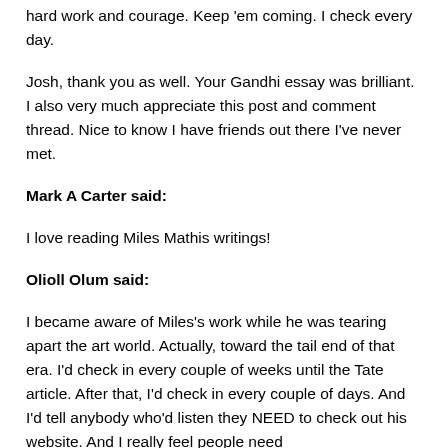hard work and courage. Keep 'em coming. I check every day.
Josh, thank you as well. Your Gandhi essay was brilliant. I also very much appreciate this post and comment thread. Nice to know I have friends out there I've never met.
Mark A Carter said:
I love reading Miles Mathis writings!
Olioll Olum said:
I became aware of Miles's work while he was tearing apart the art world. Actually, toward the tail end of that era. I'd check in every couple of weeks until the Tate article. After that, I'd check in every couple of days. And I'd tell anybody who'd listen they NEED to check out his website. And I really feel people need